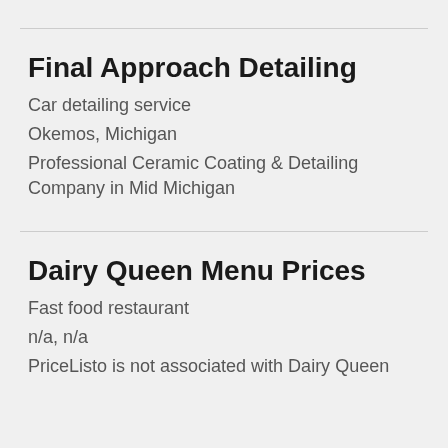Final Approach Detailing
Car detailing service
Okemos, Michigan
Professional Ceramic Coating & Detailing Company in Mid Michigan
Dairy Queen Menu Prices
Fast food restaurant
n/a, n/a
PriceListo is not associated with Dairy Queen